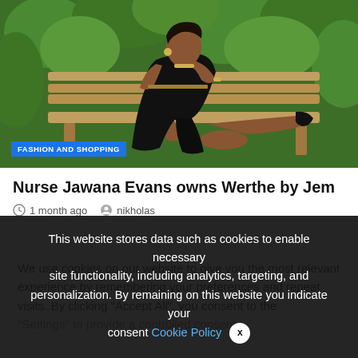[Figure (photo): A woman in a black dress posing on a wooden bench surrounded by green leafy plants. A blue label reads FASHION AND SHOPPING.]
Nurse Jawana Evans owns Werthe by Jem
1 month ago   nikholas
We use cookies on our website to give you the most relevant experience by remembering your preferences and repeat visits. By clicking "Accept All", you consent to the "Settings" to provide a controlled consent.
This website stores data such as cookies to enable necessary site functionality, including analytics, targeting, and personalization. By remaining on this website you indicate your consent Cookie Policy